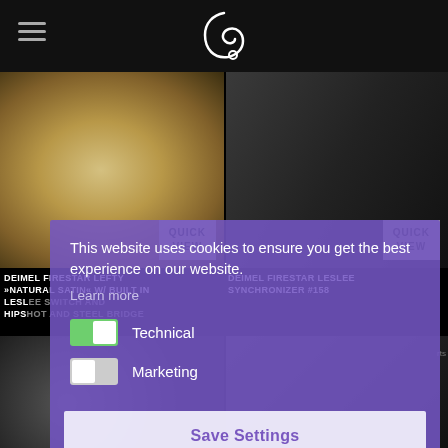[Figure (screenshot): Website header bar with hamburger menu icon and Deimel Guitarworks logo (stylized letter D with circle)]
[Figure (photo): Deimel Firestar Lefty guitar body detail showing bridge hardware on natural satin wood finish with QUICK VIEW button overlay]
[Figure (photo): Deimel Firestar Leslee Synchronizer #158 guitar electronics detail with QUICK VIEW button overlay]
DEIMEL FIRESTAR LEFTY »NATURAL SATIN« W/ BUILT IN LESL... (product title, partially obscured)
DEIMEL FIRESTAR LESLEE SYNCHRONIZER #158
This website uses cookies to ensure you get the best experience on our website.
Learn more
Technical
Marketing
Save Settings